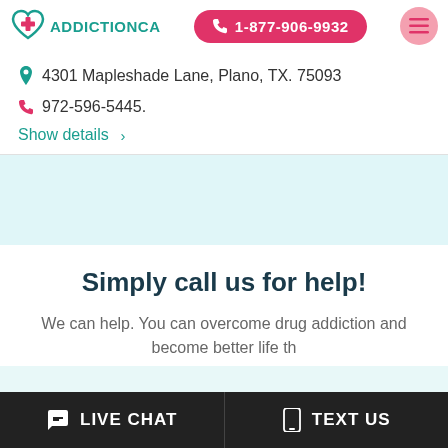ADDICTIONCA | 1-877-906-9932
4301 Mapleshade Lane, Plano, TX. 75093
972-596-5445.
Show details >
Simply call us for help!
We can help. You can overcome drug addiction and become better life th...
LIVE CHAT | TEXT US